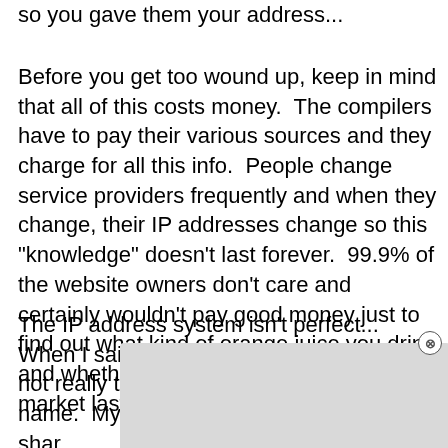so you gave them your address...
Before you get too wound up, keep in mind that all of this costs money.  The compilers have to pay their various sources and they charge for all this info.  People change service providers frequently and when they change, their IP addresses change so this "knowledge" doesn't last forever.  99.9% of the website owners don't care and certainly wouldn't pay good money just to find out what kind of orange juice you drink and whether you made any money in the market last year.  I certainly wouldn't!
The IP address system isn't perfect...  When I said my name is 24.70.9.66 that's not really true...  That's my computer's name.  My husband, children and myself all sha... g childre... nuch respon... hey're